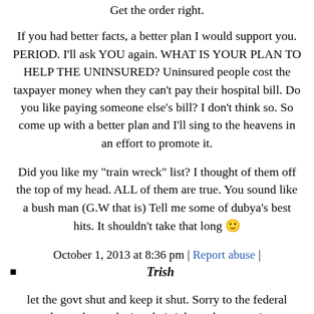Get the order right.
If you had better facts, a better plan I would support you. PERIOD. I'll ask YOU again. WHAT IS YOUR PLAN TO HELP THE UNINSURED? Uninsured people cost the taxpayer money when they can't pay their hospital bill. Do you like paying someone else's bill? I don't think so. So come up with a better plan and I'll sing to the heavens in an effort to promote it.
Did you like my "train wreck" list? I thought of them off the top of my head. ALL of them are true. You sound like a bush man (G.W that is) Tell me some of dubya's best hits. It shouldn't take that long 🙂
October 1, 2013 at 8:36 pm | Report abuse |
Trish
let the govt shut and keep it shut. Sorry to the federal workers who are losing their jobs and pay – private industry has been going through it for years now. Maybe time to look at the